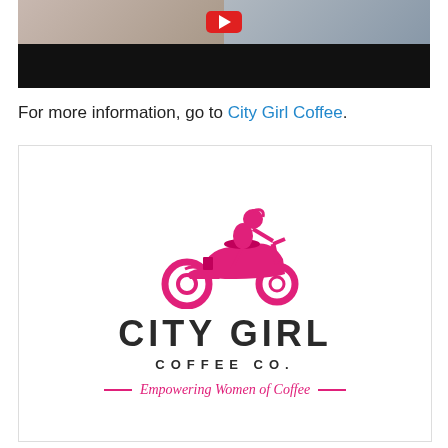[Figure (screenshot): Video thumbnail showing two people, with a red YouTube play button overlay and black bottom bar]
For more information, go to City Girl Coffee.
[Figure (logo): City Girl Coffee Co. logo — pink silhouette of woman on scooter, bold 'CITY GIRL' text, 'COFFEE CO.' subtitle, pink italic tagline 'Empowering Women of Coffee' with decorative lines]